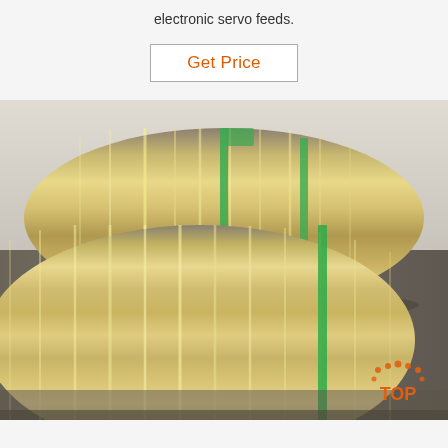electronic servo feeds.
Get Price
[Figure (photo): Two large rolls/coils of shiny metallic foil or thin metal sheet, wrapped with green strapping bands, resting on a surface. The metal has a bright silvery-gold reflective finish.]